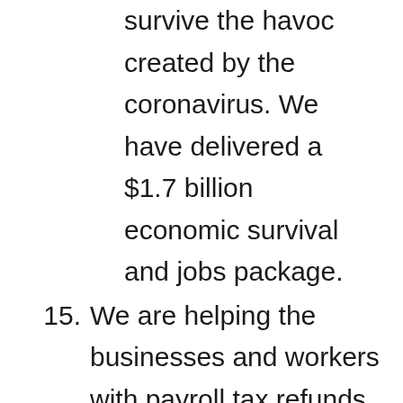survive the havoc created by the coronavirus. We have delivered a $1.7 billion economic survival and jobs package.
15. We are helping the businesses and workers with payroll tax refunds and deferral and rent relief for all tenants in government buildings and moving to pay supplier invoices within five days.
16. We have also created a $500 million Business Support Fund to help the hardest hit sectors. I have received numerous inquiries from local